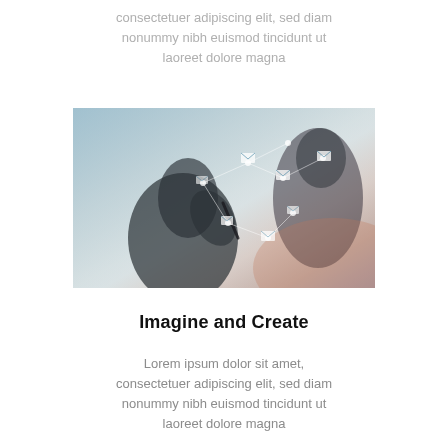consectetuer adipiscing elit, sed diam nonummy nibh euismod tincidunt ut laoreet dolore magna
[Figure (photo): A person holding a stylus or pen, writing or drawing on a surface overlaid with glowing email/envelope icon network graphics — a tech/communication themed composite photo with warm and cool tones.]
Imagine and Create
Lorem ipsum dolor sit amet, consectetuer adipiscing elit, sed diam nonummy nibh euismod tincidunt ut laoreet dolore magna